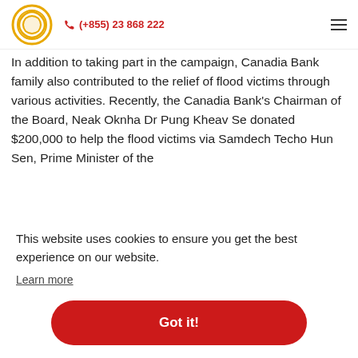(+855) 23 868 222
In addition to taking part in the campaign, Canadia Bank family also contributed to the relief of flood victims through various activities. Recently, the Canadia Bank's Chairman of the Board, Neak Oknha Dr Pung Kheav Se donated $200,000 to help the flood victims via Samdech Techo Hun Sen, Prime Minister of the
This website uses cookies to ensure you get the best experience on our website.
Learn more
Got it!